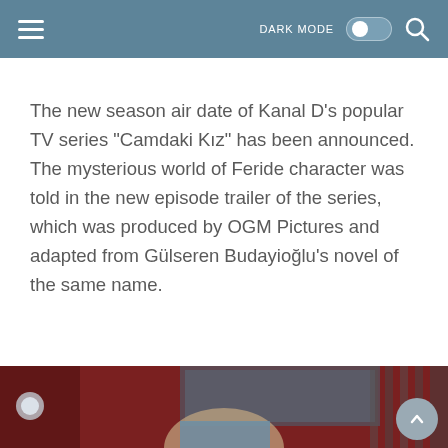DARK MODE [toggle] [search]
The new season air date of Kanal D's popular TV series "Camdaki Kız" has been announced. The mysterious world of Feride character was told in the new episode trailer of the series, which was produced by OGM Pictures and adapted from Gülseren Budayioğlu's novel of the same name.
[Figure (photo): A woman with brown hair wearing a light blue top, photographed in what appears to be a living room or interior setting with a TV visible in the background. Red/dark toned walls visible.]